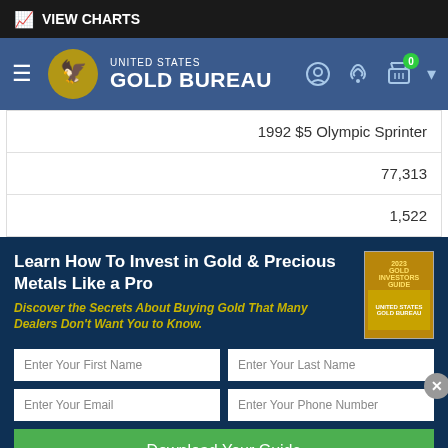VIEW CHARTS
[Figure (logo): United States Gold Bureau navigation bar with logo, hamburger menu, chat, phone, and cart icons]
| 1992 $5 Olympic Sprinter |
| 77,313 |
| 1,522 |
Learn How To Invest in Gold & Precious Metals Like a Pro
Discover the Secrets About Buying Gold That Many Dealers Don't Want You to Know.
Enter Your First Name | Enter Your Last Name | Enter Your Email | Enter Your Phone Number
Download Your Guide
By clicking the button, I agree to be bound by the Privacy Policy, User Agreement, Market-Loss Policy, Electronic Disclaimer and Terms & Conditions of sale.